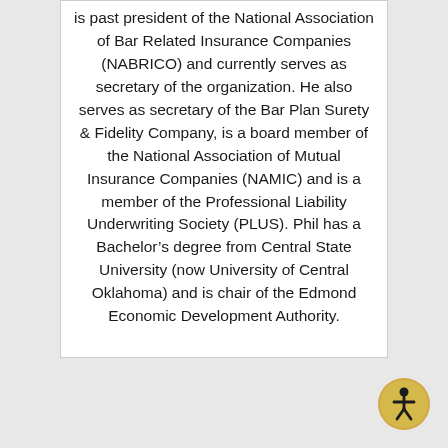is past president of the National Association of Bar Related Insurance Companies (NABRICO) and currently serves as secretary of the organization. He also serves as secretary of the Bar Plan Surety & Fidelity Company, is a board member of the National Association of Mutual Insurance Companies (NAMIC) and is a member of the Professional Liability Underwriting Society (PLUS). Phil has a Bachelor’s degree from Central State University (now University of Central Oklahoma) and is chair of the Edmond Economic Development Authority.
[Figure (illustration): Accessibility icon: a circular yellow/gold button with a stylized human figure symbol in black, indicating accessibility features.]